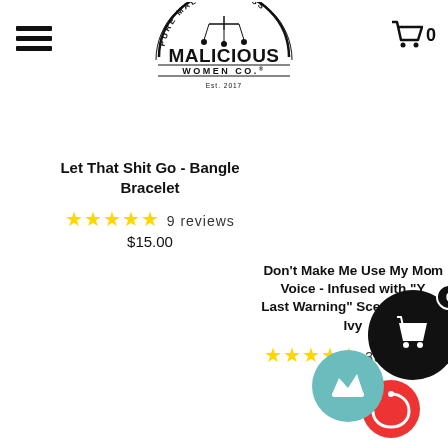[Figure (logo): Malicious Women Co. logo with arc text 'Pure Maliciousness', chandelier icon, bold MALICIOUS WOMEN CO. text, Est. 2017]
[Figure (other): Hamburger menu icon (three horizontal lines) on top left]
[Figure (other): Shopping cart icon with 0 on top right]
Let That Shit Go - Bangle Bracelet
★★★★★ 9 reviews
$15.00
Don't Make Me Use My Mom Voice - Infused with "Last Warning" Scent: Poison Ivy
★★★★★ 33 reviews
$22.00
[Figure (other): Black circle with shopping bag icon and badge showing 0]
[Figure (other): Teal loyalty crown circle overlapping red circle at bottom right]